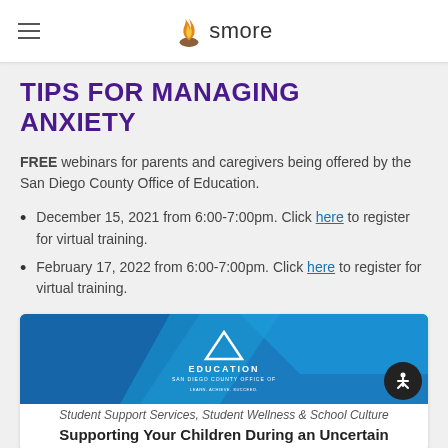smore
TIPS FOR MANAGING ANXIETY
FREE webinars for parents and caregivers being offered by the San Diego County Office of Education.
December 15, 2021 from 6:00-7:00pm. Click here to register for virtual training.
February 17, 2022 from 6:00-7:00pm. Click here to register for virtual training.
[Figure (illustration): San Diego County Office of Education banner with blue diagonal design, triangle logo, and EDUCATION text. Below: 'Student Support Services, Student Wellness & School Culture'. Title: 'Supporting Your Children During an Uncertain']